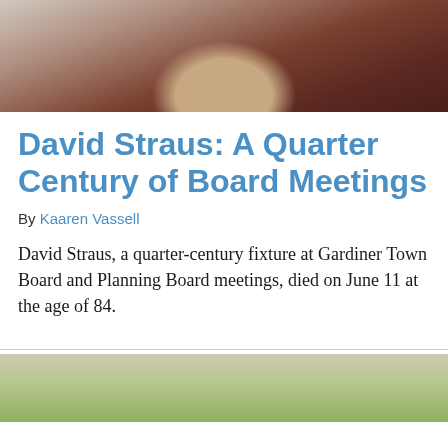[Figure (photo): Portrait photo of David Straus, an elderly man in a dark red/maroon shirt, photographed against a light background, shown from the shoulders up]
David Straus: A Quarter Century of Board Meetings
By Kaaren Vassell
David Straus, a quarter-century fixture at Gardiner Town Board and Planning Board meetings, died on June 11 at the age of 84.
[Figure (photo): Partial photo of a person (bottom of page), showing top of head with light/blonde hair against an outdoor background with greenery]